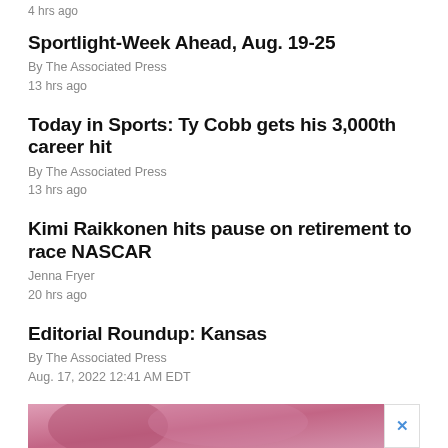4 hrs ago
Sportlight-Week Ahead, Aug. 19-25
By The Associated Press
13 hrs ago
Today in Sports: Ty Cobb gets his 3,000th career hit
By The Associated Press
13 hrs ago
Kimi Raikkonen hits pause on retirement to race NASCAR
Jenna Fryer
20 hrs ago
Editorial Roundup: Kansas
By The Associated Press
Aug. 17, 2022 12:41 AM EDT
[Figure (photo): Advertisement banner image with pink/red tones]